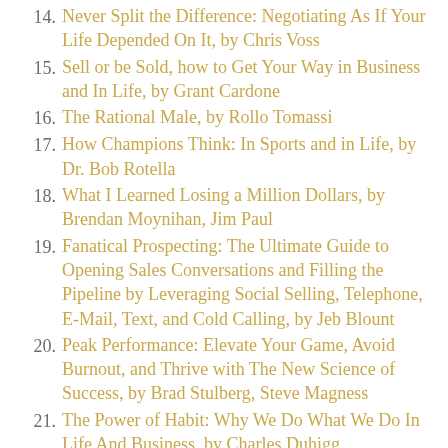14. Never Split the Difference: Negotiating As If Your Life Depended On It, by Chris Voss
15. Sell or be Sold, how to Get Your Way in Business and In Life, by Grant Cardone
16. The Rational Male, by Rollo Tomassi
17. How Champions Think: In Sports and in Life, by Dr. Bob Rotella
18. What I Learned Losing a Million Dollars, by Brendan Moynihan, Jim Paul
19. Fanatical Prospecting: The Ultimate Guide to Opening Sales Conversations and Filling the Pipeline by Leveraging Social Selling, Telephone, E-Mail, Text, and Cold Calling, by Jeb Blount
20. Peak Performance: Elevate Your Game, Avoid Burnout, and Thrive with The New Science of Success, by Brad Stulberg, Steve Magness
21. The Power of Habit: Why We Do What We Do In Life And Business, by Charles Duhigg